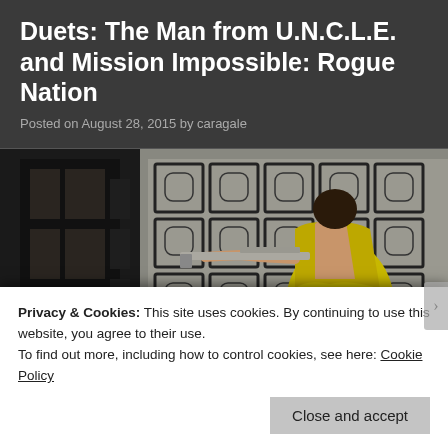Duets: The Man from U.N.C.L.E. and Mission Impossible: Rogue Nation
Posted on August 28, 2015 by caragale
[Figure (photo): A woman in a yellow backless dress aiming a sniper rifle, set against a decorative Asian-style lattice window backdrop with dark interior.]
Privacy & Cookies: This site uses cookies. By continuing to use this website, you agree to their use.
To find out more, including how to control cookies, see here: Cookie Policy
Close and accept